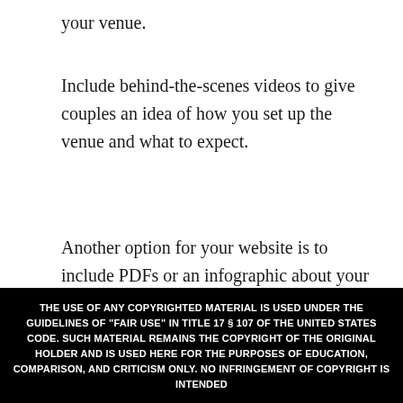your venue.
Include behind-the-scenes videos to give couples an idea of how you set up the venue and what to expect.
Another option for your website is to include PDFs or an infographic about your services. Include information for the couple and a method of contact in case they need to reach out.
5. Offer Tours
THE USE OF ANY COPYRIGHTED MATERIAL IS USED UNDER THE GUIDELINES OF "FAIR USE" IN TITLE 17 § 107 OF THE UNITED STATES CODE. SUCH MATERIAL REMAINS THE COPYRIGHT OF THE ORIGINAL HOLDER AND IS USED HERE FOR THE PURPOSES OF EDUCATION, COMPARISON, AND CRITICISM ONLY. NO INFRINGEMENT OF COPYRIGHT IS INTENDED